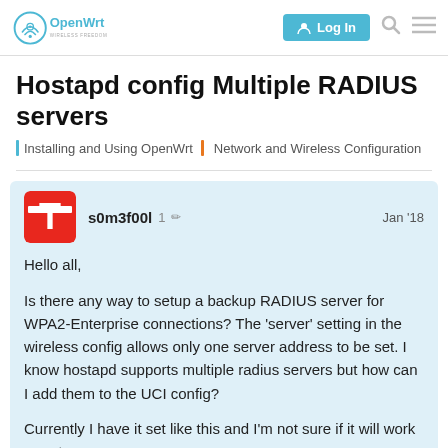OpenWrt — WIRELESS FREEDOM | Log In
Hostapd config Multiple RADIUS servers
Installing and Using OpenWrt | Network and Wireless Configuration
s0m3f00l  1  Jan '18

Hello all,

Is there any way to setup a backup RADIUS server for WPA2-Enterprise connections? The 'server' setting in the wireless config allows only one server address to be set. I know hostapd supports multiple radius servers but how can I add them to the UCI config?

Currently I have it set like this and I'm not sure if it will work or not:
1 / 7